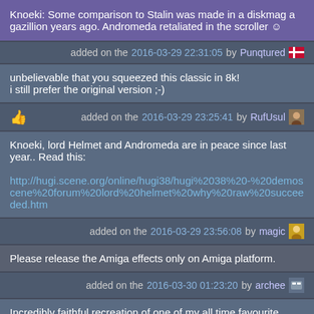Knoeki: Some comparison to Stalin was made in a diskmag a gazillion years ago. Andromeda retaliated in the scroller ☺
added on the 2016-03-29 22:31:05 by Punqtured
unbelievable that you squeezed this classic in 8k!
i still prefer the original version ;-)
added on the 2016-03-29 23:25:41 by RufUsul
Knoeki, lord Helmet and Andromeda are in peace since last year.. Read this:

http://hugi.scene.org/online/hugi38/hugi%2038%20-%20demoscene%20forum%20lord%20helmet%20why%20raw%20succeeded.htm
added on the 2016-03-29 23:56:08 by magic
Please release the Amiga effects only on Amiga platform.
added on the 2016-03-30 01:23:20 by archee
Incredibly faithful recreation of one of my all time favourite Amiga demos! Well done and of course it looks a bit off / odd in 16:9 and